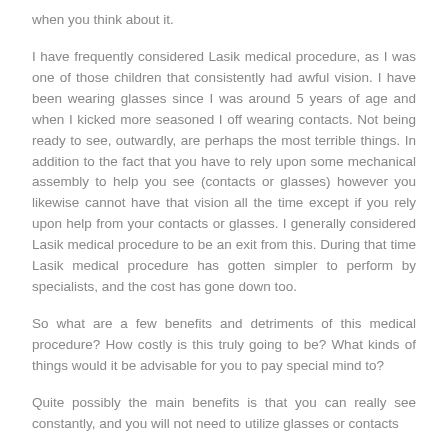when you think about it.
I have frequently considered Lasik medical procedure, as I was one of those children that consistently had awful vision. I have been wearing glasses since I was around 5 years of age and when I kicked more seasoned I off wearing contacts. Not being ready to see, outwardly, are perhaps the most terrible things. In addition to the fact that you have to rely upon some mechanical assembly to help you see (contacts or glasses) however you likewise cannot have that vision all the time except if you rely upon help from your contacts or glasses. I generally considered Lasik medical procedure to be an exit from this. During that time Lasik medical procedure has gotten simpler to perform by specialists, and the cost has gone down too.
So what are a few benefits and detriments of this medical procedure? How costly is this truly going to be? What kinds of things would it be advisable for you to pay special mind to?
Quite possibly the main benefits is that you can really see constantly, and you will not need to utilize glasses or contacts